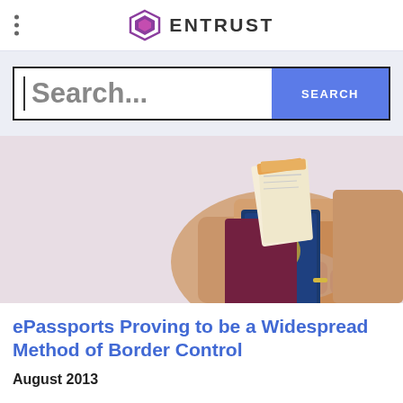ENTRUST
Search...
[Figure (photo): Person holding a blue US passport along with what appear to be travel tickets/boarding passes]
ePassports Proving to be a Widespread Method of Border Control
August 2013